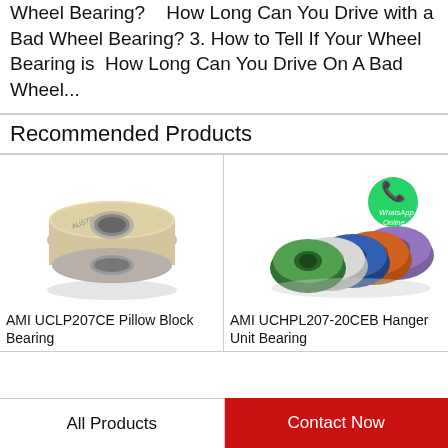Wheel Bearing? How Long Can You Drive with a Bad Wheel Bearing? 3. How to Tell If Your Wheel Bearing is How Long Can You Drive On A Bad Wheel...
Recommended Products
[Figure (photo): A single ball bearing with yellow/cream colored seal, stainless steel ring, shown from front angle]
AMI UCLP207CE Pillow Block Bearing
[Figure (photo): Multiple colorful ball bearings fanned out in a row (green, white, blue, orange, purple), with a WhatsApp Online green circle icon overlay]
AMI UCHPL207-20CEB Hanger Unit Bearing
All Products
Contact Now